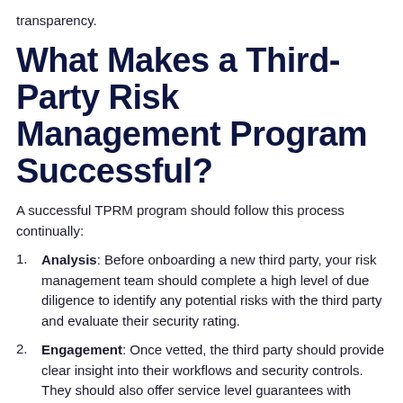transparency.
What Makes a Third-Party Risk Management Program Successful?
A successful TPRM program should follow this process continually:
Analysis: Before onboarding a new third party, your risk management team should complete a high level of due diligence to identify any potential risks with the third party and evaluate their security rating.
Engagement: Once vetted, the third party should provide clear insight into their workflows and security controls. They should also offer service level guarantees with proper monitoring tools to ensure SLAs.